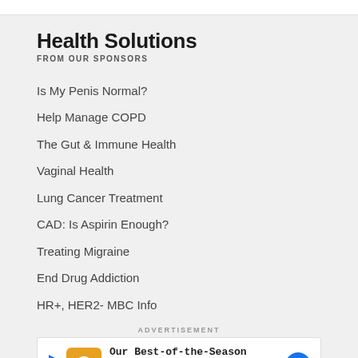Health Solutions
FROM OUR SPONSORS
Is My Penis Normal?
Help Manage COPD
The Gut & Immune Health
Vaginal Health
Lung Cancer Treatment
CAD: Is Aspirin Enough?
Treating Migraine
End Drug Addiction
HR+, HER2- MBC Info
ADVERTISEMENT
[Figure (infographic): Wegmans advertisement banner: Our Best-of-the-Season Produce, with orange logo and blue arrow icon]